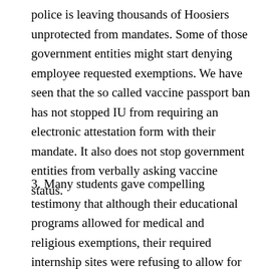police is leaving thousands of Hoosiers unprotected from mandates. Some of those government entities might start denying employee requested exemptions. We have seen that the so called vaccine passport ban has not stopped IU from requiring an electronic attestation form with their mandate. It also does not stop government entities from verbally asking vaccine status.
3. Many students gave compelling testimony that although their educational programs allowed for medical and religious exemptions, their required internship sites were refusing to allow for any exemptions. Many are students in their last year of their program, and they are being coerced